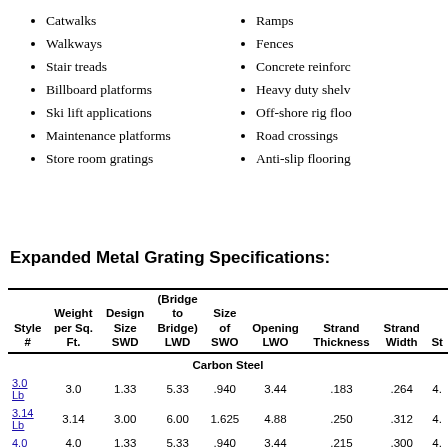Catwalks
Walkways
Stair treads
Billboard platforms
Ski lift applications
Maintenance platforms
Store room gratings
Ramps
Fences
Concrete reinforc...
Heavy duty shelv...
Off-shore rig floo...
Road crossings
Anti-slip flooring
Expanded Metal Grating Specifications:
| Style # | Weight per Sq. Ft. | Design Size SWD | (Bridge to Bridge) LWD | Size of SWO | Opening LWO | Strand Thickness | Strand Width | St... |
| --- | --- | --- | --- | --- | --- | --- | --- | --- |
| Carbon Steel |  |  |  |  |  |  |  |  |
| 3.0 Lb | 3.0 | 1.33 | 5.33 | .940 | 3.44 | .183 | .264 | 4. |
| 3.14 Lb | 3.14 | 3.00 | 6.00 | 1.625 | 4.88 | .250 | .312 | 4. |
| 4.0 | 4.0 | 1.33 | 5.33 | .940 | 3.44 | .215 | .300 | 4. |